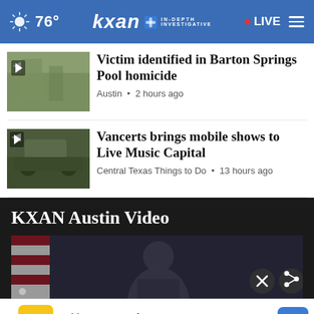76° kxan IN-DEPTH INVESTIGATIVE • LIVE
Victim identified in Barton Springs Pool homicide
Austin • 2 hours ago
Vancerts brings mobile shows to Live Music Capital
Central Texas Things to Do • 13 hours ago
KXAN Austin Video
[Figure (screenshot): Video thumbnail showing a person speaking at a podium with American flags in the background. Close and share buttons visible.]
Ashburn OPEN | 8AM–8PM 44110 Ashburn Shopping Plaza ...